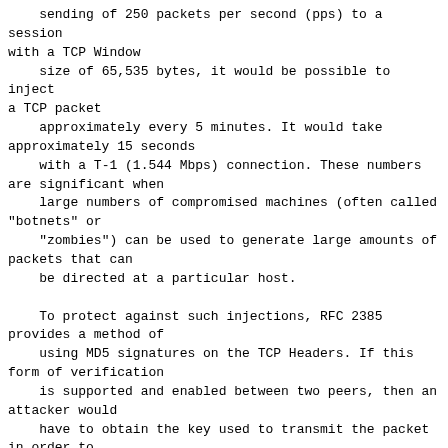sending of 250 packets per second (pps) to a session with a TCP Window
    size of 65,535 bytes, it would be possible to inject a TCP packet
    approximately every 5 minutes. It would take approximately 15 seconds
    with a T-1 (1.544 Mbps) connection. These numbers are significant when
    large numbers of compromised machines (often called "botnets" or
    "zombies") can be used to generate large amounts of packets that can
    be directed at a particular host.

    To protect against such injections, RFC 2385 provides a method of
    using MD5 signatures on the TCP Headers. If this form of verification
    is supported and enabled between two peers, then an attacker would
    have to obtain the key used to transmit the packet in order to
    successfully inject a packet into the TCP session. Another alternative
    would be to tunnel BGP over IPSec. Again, this would provide a form of
    authentication between the BGP peers and the data that they transmit.
    The lack of authentication when using TCP for BGP makes this type of